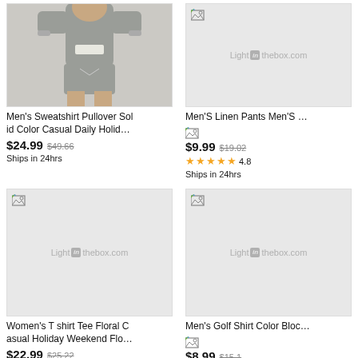[Figure (photo): Men's sweatshirt pullover product photo - person wearing grey hoodie and shorts]
Men's Sweatshirt Pullover Solid Color Casual Daily Holid…
$24.99 $49.66
Ships in 24hrs
[Figure (photo): Men's Linen Pants product image placeholder with LightInTheBox.com watermark]
Men'S Linen Pants Men'S …
$9.99 $19.02
4.8
Ships in 24hrs
[Figure (photo): Women's T shirt Tee Floral image placeholder with LightInTheBox.com watermark]
Women's T shirt Tee Floral Casual Holiday Weekend Flo…
$22.99 $25.22
[Figure (photo): Men's Golf Shirt Color Block image placeholder with LightInTheBox.com watermark]
Men's Golf Shirt Color Bloc…
$8.99 $15.1